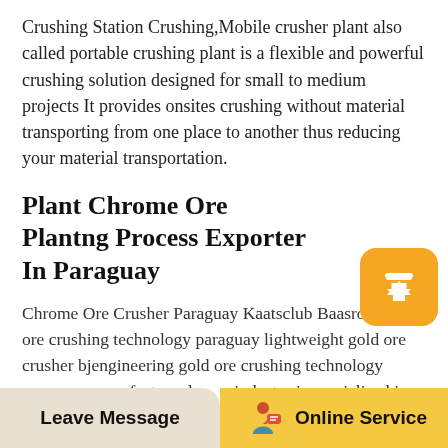Crushing Station Crushing,Mobile crusher plant also called portable crushing plant is a flexible and powerful crushing solution designed for small to medium projects It provides onsites crushing without material transporting from one place to another thus reducing your material transportation.
Plant Chrome Ore Plantng Process Exporter In Paraguay
Chrome Ore Crusher Paraguay Kaatsclub Baasro Gold ore crushing technology paraguay lightweight gold ore crusher bjengineering gold ore crushing technology paraguay manufacturer heavy industry is specialized in the Paraguay Gold Ore Impact Crusher including quarry aggregate grinding production and complete plant plan If you are.Paraguay Charred Coal
[Figure (illustration): Yellow rounded square button with white upward arrow icon (back to top button)]
Leave Message | Online Service